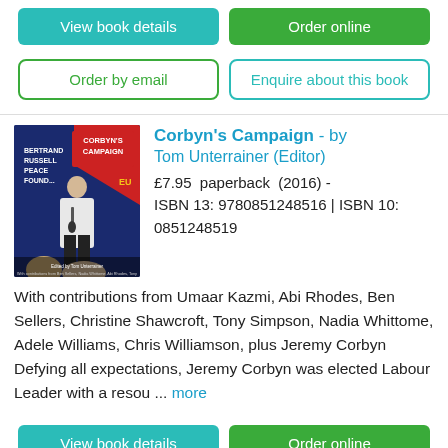View book details
Order online
Order by email
Enquire about this book
[Figure (photo): Book cover of Corbyn's Campaign edited by Tom Unterrainer, showing Jeremy Corbyn speaking at a Bertrand Russell Peace Foundation event with EU flags in background.]
Corbyn's Campaign - by Tom Unterrainer (Editor)
£7.95  paperback  (2016) - ISBN 13: 9780851248516 | ISBN 10: 0851248519
With contributions from Umaar Kazmi, Abi Rhodes, Ben Sellers, Christine Shawcroft, Tony Simpson, Nadia Whittome, Adele Williams, Chris Williamson, plus Jeremy Corbyn Defying all expectations, Jeremy Corbyn was elected Labour Leader with a resou ... more
View book details
Order online